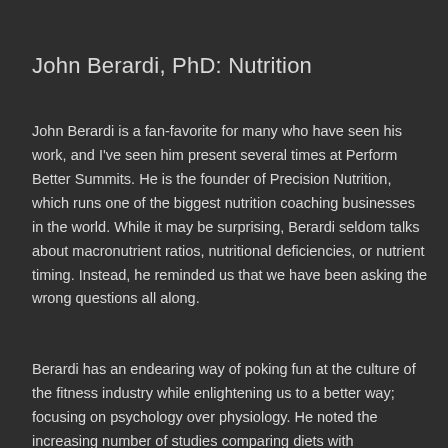John Berardi, PhD: Nutrition
John Berardi is a fan-favorite for many who have seen his work, and I've seen him present several times at Perform Better Summits.  He is the founder of Precision Nutrition, which runs one of the biggest nutrition coaching businesses in the world.  While it may be surprising, Berardi seldom talks about macronutrient ratios, nutritional deficiencies, or nutrient timing.  Instead, he reminded us that we have been asking the wrong questions all along.
Berardi has an endearing way of poking fun at the culture of the fitness industry while enlightening us to a better way; focusing on psychology over physiology.  He noted the increasing number of studies comparing diets with